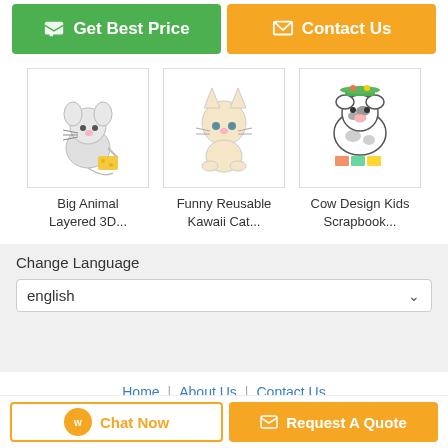[Figure (screenshot): Green 'Get Best Price' button and orange 'Contact Us' button at the top]
[Figure (illustration): Product thumbnail: Big Animal Layered 3D... (mouse cartoon)]
Big Animal Layered 3D...
[Figure (illustration): Product thumbnail: Funny Reusable Kawaii Cat... (cat cartoon)]
Funny Reusable Kawaii Cat...
[Figure (illustration): Product thumbnail: Cow Design Kids Scrapbook... (cow cartoon)]
Cow Design Kids Scrapbook...
Change Language
english
Home | About Us | Contact Us
Desktop View
Copyright © 2018 - 2021 puffy-stickers.com. All rights reserved.
Chat Now
Request A Quote